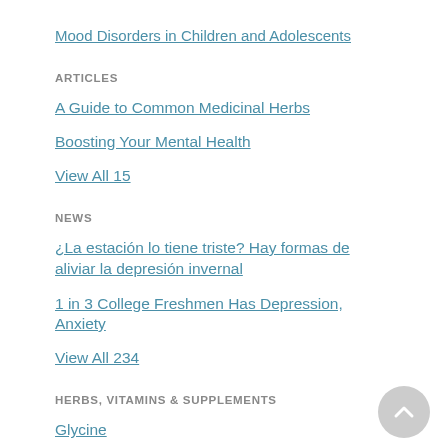Mood Disorders in Children and Adolescents
ARTICLES
A Guide to Common Medicinal Herbs
Boosting Your Mental Health
View All 15
NEWS
¿La estación lo tiene triste? Hay formas de aliviar la depresión invernal
1 in 3 College Freshmen Has Depression, Anxiety
View All 234
HERBS, VITAMINS & SUPPLEMENTS
Glycine
Phenylalanine